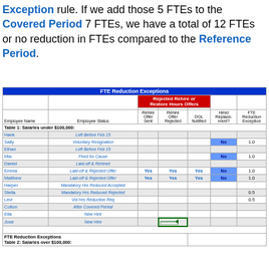Exception rule. If we add those 5 FTEs to the Covered Period 7 FTEs, we have a total of 12 FTEs or no reduction in FTEs compared to the Reference Period.
| Employee Name | Employee Status | Rehire Offer Sent | Rehire Offer Rejected | DOL Notified | Hired Replace-ment? | FTE Reduction Exception |
| --- | --- | --- | --- | --- | --- | --- |
| Table 1: Salaries under $100,000: |  |  |  |  |  |  |
| Hank | Left Before Feb 15 |  |  |  |  |  |
| Sally | Voluntary Resignation |  |  |  | No | 1.0 |
| Ethan | Left Before Feb 15 |  |  |  |  |  |
| Mia | Fired for Cause |  |  |  | No | 1.0 |
| Daniel | Laid-off & Rehired |  |  |  |  |  |
| Emma | Laid-off & Rejected Offer | Yes | Yes | Yes | No | 1.0 |
| Matthew | Laid-off & Rejected Offer | Yes | Yes | Yes | No | 1.0 |
| Harper | Mandatory Hrs Reduced Accepted |  |  |  |  |  |
| Stella | Mandatory Hrs Reduced Rejected |  |  |  |  | 0.5 |
| Levi | Vol Hrs Reduction Req |  |  |  |  | 0.5 |
| Colton | After Covered Period |  |  |  |  |  |
| Ella | New Hire |  |  |  |  |  |
| Jose | New Hire |  |  |  |  |  |
| FTE Reduction Exceptions |  |  |  |  |  |  |
| Table 2: Salaries over $100,000: |  |  |  |  |  |  |